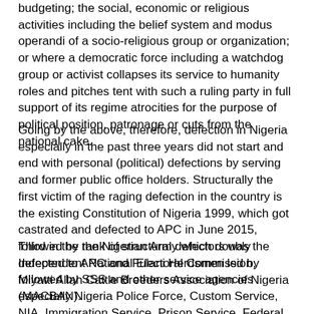budgeting; the social, economic or religious activities including the belief system and modus operandi of a socio-religious group or organization; or where a democratic force including a watchdog group or activist collapses its service to humanity roles and pitches tent with such a ruling party in full support of its regime atrocities for the purpose of political position, patronage or cuts from the national cake.
Going by the above, therefore, defection in Nigeria especially in the past three years did not start and end with personal (political) defections by serving and former public office holders. Structurally the first victim of the raging defection in the country is the existing Constitution of Nigeria 1999, which got castrated and defected to APC in June 2015, followed by the Nigerian Army which doubly defected to APC and Fulani Herdsmen led by Miyatti Allah Cattle Breeders Association of Nigeria (MACBAN).
Third in the rank of structural defectors was the Independent National Electoral Commission, followed by SSS and other service agencies especially Nigeria Police Force, Custom Service, NIA, Immigration Service, Prison Service, Federal Character Commission, Railway Service, Customs service and